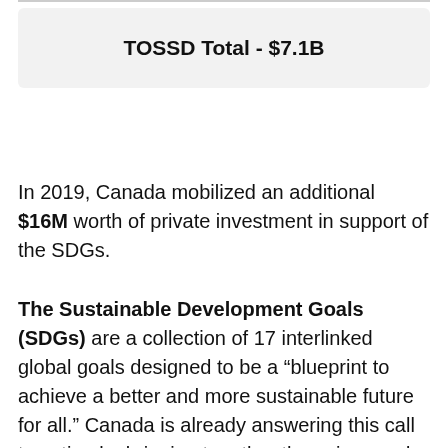TOSSD Total - $7.1B
In 2019, Canada mobilized an additional $16M worth of private investment in support of the SDGs.
The Sustainable Development Goals (SDGs) are a collection of 17 interlinked global goals designed to be a “blueprint to achieve a better and more sustainable future for all.” Canada is already answering this call to action by bringing together the voices and efforts of all levels of government, alongside